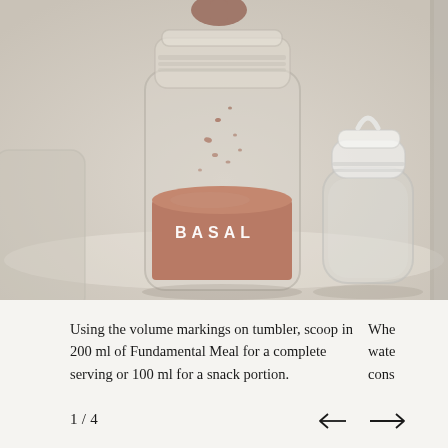[Figure (photo): Product photo showing a glass jar labeled 'BASAL' with brown powder (meal powder) being scooped in from above, alongside a clear glass water tumbler with a white loop lid, on a light cream/beige surface background.]
Using the volume markings on tumbler, scoop in 200 ml of Fundamental Meal for a complete serving or 100 ml for a snack portion.
Whe water cons
1 / 4